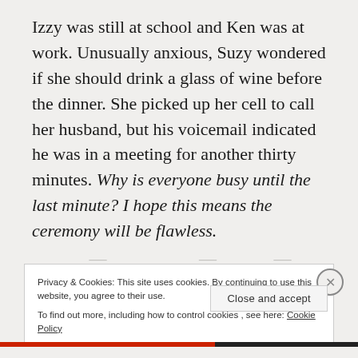Izzy was still at school and Ken was at work. Unusually anxious, Suzy wondered if she should drink a glass of wine before the dinner. She picked up her cell to call her husband, but his voicemail indicated he was in a meeting for another thirty minutes. Why is everyone busy until the last minute? I hope this means the ceremony will be flawless.
Privacy & Cookies: This site uses cookies. By continuing to use this website, you agree to their use. To find out more, including how to control cookies, see here: Cookie Policy